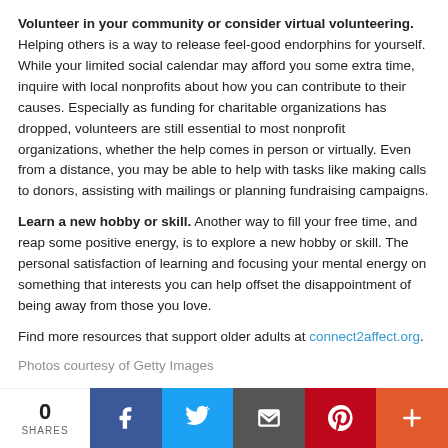Volunteer in your community or consider virtual volunteering. Helping others is a way to release feel-good endorphins for yourself. While your limited social calendar may afford you some extra time, inquire with local nonprofits about how you can contribute to their causes. Especially as funding for charitable organizations has dropped, volunteers are still essential to most nonprofit organizations, whether the help comes in person or virtually. Even from a distance, you may be able to help with tasks like making calls to donors, assisting with mailings or planning fundraising campaigns.
Learn a new hobby or skill. Another way to fill your free time, and reap some positive energy, is to explore a new hobby or skill. The personal satisfaction of learning and focusing your mental energy on something that interests you can help offset the disappointment of being away from those you love.
Find more resources that support older adults at connect2affect.org.
Photos courtesy of Getty Images
0 SHARES | Facebook | Twitter | Email | Pinterest | More